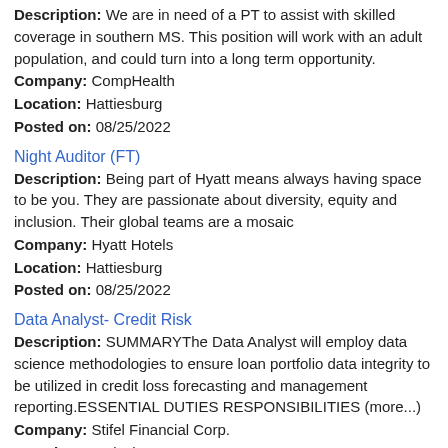Description: We are in need of a PT to assist with skilled coverage in southern MS. This position will work with an adult population, and could turn into a long term opportunity.
Company: CompHealth
Location: Hattiesburg
Posted on: 08/25/2022
Night Auditor (FT)
Description: Being part of Hyatt means always having space to be you. They are passionate about diversity, equity and inclusion. Their global teams are a mosaic
Company: Hyatt Hotels
Location: Hattiesburg
Posted on: 08/25/2022
Data Analyst- Credit Risk
Description: SUMMARYThe Data Analyst will employ data science methodologies to ensure loan portfolio data integrity to be utilized in credit loss forecasting and management reporting.ESSENTIAL DUTIES RESPONSIBILITIES (more...)
Company: Stifel Financial Corp.
Location: Hattiesburg
Posted on: 08/25/2022